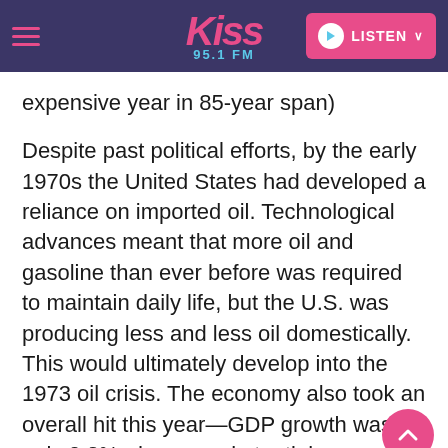Kiss 95.1 FM — LISTEN
expensive year in 85-year span)
Despite past political efforts, by the early 1970s the United States had developed a reliance on imported oil. Technological advances meant that more oil and gasoline than ever before was required to maintain daily life, but the U.S. was producing less and less oil domestically. This would ultimately develop into the 1973 oil crisis. The economy also took an overall hit this year—GDP growth was only 0.2%, down a substantial amount from the year prior, and inflation continued.